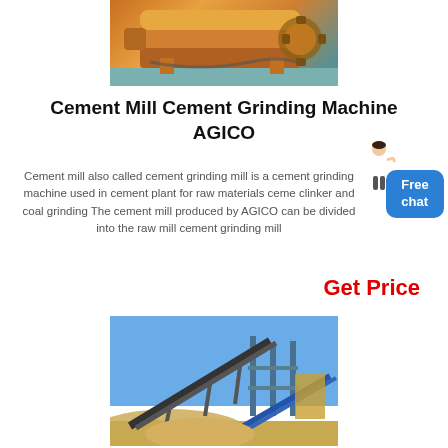[Figure (photo): Cement ball mill machine, large orange/yellow industrial grinding equipment on a teal base]
Cement Mill Cement Grinding Machine AGICO
Cement mill also called cement grinding mill is a cement grinding machine used in cement plant for raw materials cement clinker and coal grinding The cement mill produced by AGICO can be divided into the raw mill cement grinding mill
[Figure (illustration): Person figure (customer service representative) with blue 'Free chat' button overlay]
Get Price
[Figure (photo): Industrial conveyor belt system at a mining or cement plant site with blue sky background]